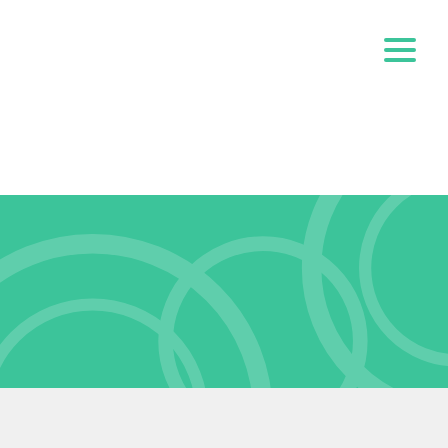[Figure (screenshot): Navigation bar with hamburger menu icon (three horizontal green lines) on white background]
ALMAS123
Home • ALMAS123